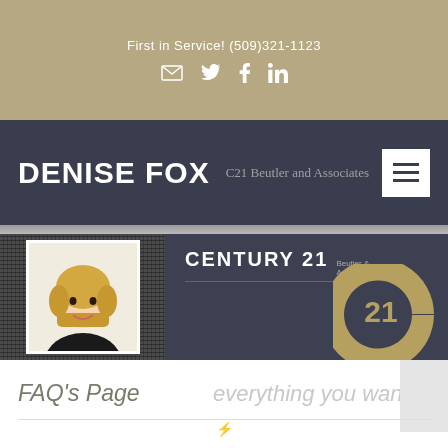First in Service! (509)321-1123
DENISE FOX  C21 Beutler and Associates
[Figure (photo): Real estate agent website header banner showing agent photo on textured dark background on the left, and CENTURY 21 Beutler & Associates logo with large C21 symbol on dark background on the right]
FAQ's Page
everything you wanted to